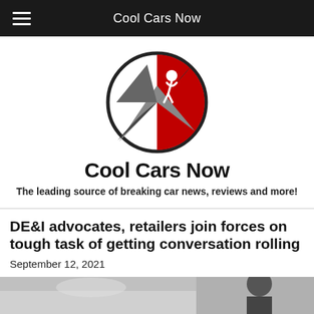Cool Cars Now
[Figure (logo): Cool Cars Now circular logo with red and grey swoosh design and a stylized figure on top]
Cool Cars Now
The leading source of breaking car news, reviews and more!
DE&I advocates, retailers join forces on tough task of getting conversation rolling
September 12, 2021
[Figure (photo): Partial photo showing people at the bottom of the page]